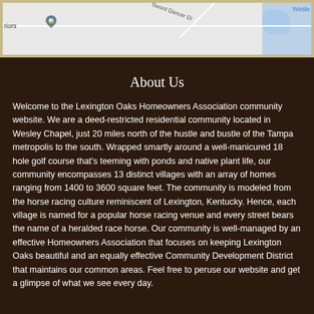[Figure (map): Partial Google Maps screenshot showing a neighborhood area with street labeled 'Sword Dancer Dr', area labels 'riors' and 'Wesley' visible, a blue water area, and a map pin icon.]
About Us
Welcome to the Lexington Oaks Homeowners Association community website. We are a deed-restricted residential community located in Wesley Chapel, just 20 miles north of the hustle and bustle of the Tampa metropolis to the south. Wrapped smartly around a well-manicured 18 hole golf course that's teeming with ponds and native plant life, our community encompasses 13 distinct villages with an array of homes ranging from 1400 to 3600 square feet. The community is modeled from the horse racing culture reminiscent of Lexington, Kentucky. Hence, each village is named for a popular horse racing venue and every street bears the name of a heralded race horse. Our community is well-managed by an effective Homeowners Association that focuses on keeping Lexington Oaks beautiful and an equally effective Community Development District that maintains our common areas. Feel free to peruse our website and get a glimpse of what we see every day.